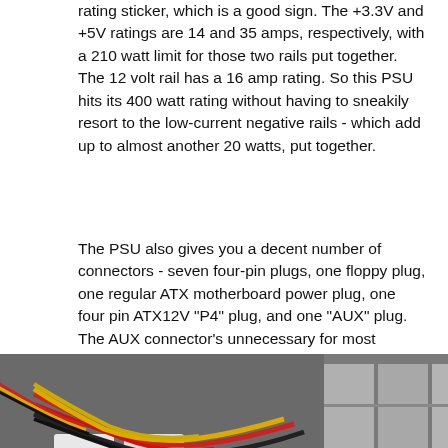This 400 watt power supply has a proper current rating sticker, which is a good sign. The +3.3V and +5V ratings are 14 and 35 amps, respectively, with a 210 watt limit for those two rails put together. The 12 volt rail has a 16 amp rating. So this PSU hits its 400 watt rating without having to sneakily resort to the low-current negative rails - which add up to almost another 20 watts, put together.
The PSU also gives you a decent number of connectors - seven four-pin plugs, one floppy plug, one regular ATX motherboard power plug, one four pin ATX12V "P4" plug, and one "AUX" plug. The AUX connector's unnecessary for most normal motherboards, but server boards often use it.
[Figure (photo): Interior photo of a computer case showing a power supply unit with colored cables (red, yellow, black) connected to components, and metal drive bays visible.]